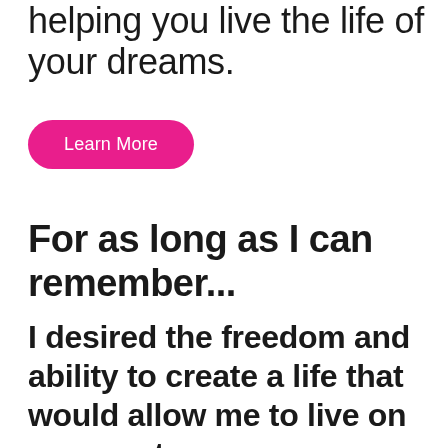helping you live the life of your dreams.
Learn More
For as long as I can remember...
I desired the freedom and ability to create a life that would allow me to live on my own terms.